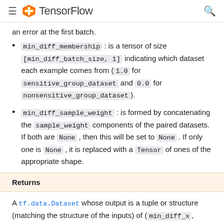TensorFlow
an error at the first batch.
min_diff_membership : is a tensor of size [min_diff_batch_size, 1] indicating which dataset each example comes from (1.0 for sensitive_group_dataset and 0.0 for nonsensitive_group_dataset).
min_diff_sample_weight : is formed by concatenating the sample_weight components of the paired datasets. If both are None , then this will be set to None . If only one is None , it is replaced with a Tensor of ones of the appropriate shape.
Returns
A tf.data.Dataset whose output is a tuple or structure (matching the structure of the inputs) of (min_diff_x, min_diff_membership, min_diff_sample_weight).